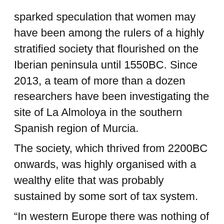sparked speculation that women may have been among the rulers of a highly stratified society that flourished on the Iberian peninsula until 1550BC. Since 2013, a team of more than a dozen researchers have been investigating the site of La Almoloya in the southern Spanish region of Murcia.
The society, which thrived from 2200BC onwards, was highly organised with a wealthy elite that was probably sustained by some sort of tax system.
“In western Europe there was nothing of the like,” said Risch, pointing to the rest of Spain where people at the time were living in self-sufficient communities of 50 to 100 people.
By the 16th century BC, all of El Argar’s